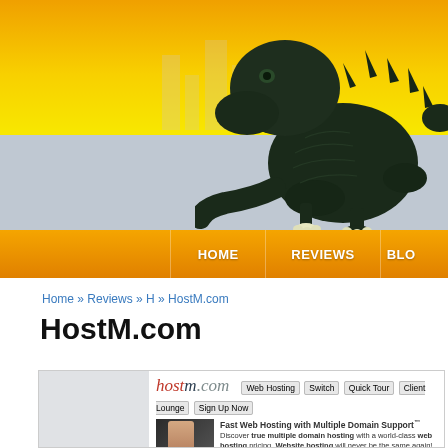[Figure (screenshot): Website header banner showing a Godzilla figurine against a yellow-to-orange gradient background with city skyline silhouette]
HOME | REVIEWS | BLO...
Home » Reviews » H » HostM.com
HostM.com
[Figure (screenshot): Screenshot of HostM.com website showing the hostm.com logo, navigation buttons (Web Hosting, Switch, Quick Tour, Client Lounge, Sign Up Now), and a section titled 'Fast Web Hosting with Multiple Domain Support' with body text about true multiple domain hosting and web hosting pricing]